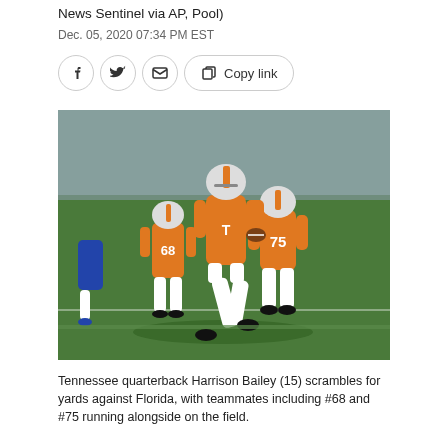News Sentinel via AP, Pool)
Dec. 05, 2020 07:34 PM EST
[Figure (photo): Tennessee quarterback Harrison Bailey (15) scrambles for yards against Florida, with teammates including #68 and #75 running alongside on a football field. Players wear orange and white Tennessee Volunteers uniforms.]
Tennessee quarterback Harrison Bailey (15) scrambles for yards against Florida, with teammates in orange uniforms including #68 and #75 running alongside.